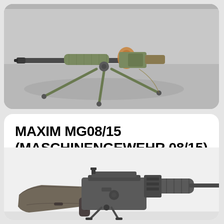[Figure (photo): A machine gun (light machine gun on tripod) photographed on a concrete surface. The weapon appears to be an older military firearm mounted on a tripod stand, viewed from the side.]
MAXIM MG08/15 (MASCHINENGEWEHR 08/15)
[Figure (photo): Close-up photograph of a Maxim MG08/15 (Maschinengewehr 08/15) machine gun showing the receiver, stock, and bipod. The image is in grayscale/monochrome showing the mechanical details of the weapon.]